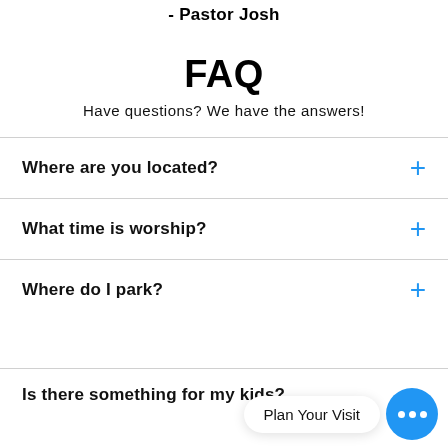- Pastor Josh
FAQ
Have questions? We have the answers!
Where are you located?
What time is worship?
Where do I park?
Is there something for my kids?
Plan Your Visit